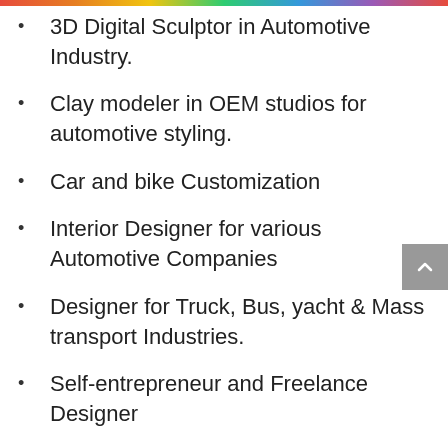3D Digital Sculptor in Automotive Industry.
Clay modeler in OEM studios for automotive styling.
Car and bike Customization
Interior Designer for various Automotive Companies
Designer for Truck, Bus, yacht & Mass transport Industries.
Self-entrepreneur and Freelance Designer
Design for Defense sector in the Government
Tractors and Heavy Equipment design.